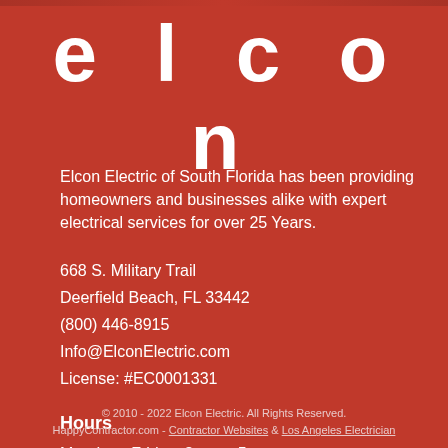elcon
Elcon Electric of South Florida has been providing homeowners and businesses alike with expert electrical services for over 25 Years.
668 S. Military Trail
Deerfield Beach, FL 33442
(800) 446-8915
Info@ElconElectric.com
License: #EC0001331
Hours
Monday - Friday: 8 am – 5 pm
Saturday & Sunday: Closed
© 2010 - 2022 Elcon Electric. All Rights Reserved.
HappyContractor.com - Contractor Websites & Los Angeles Electrician